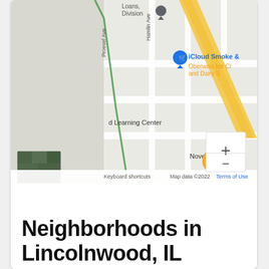[Figure (map): Google Maps screenshot showing area with streets including Proesel Ave, Hamlin Ave, and business labels: iCloud Smoke &, Oberweis Ice Cr and Dairy S, d Learning Center, Novelty Golf &, Nuovo Ch, Google logo, zoom controls (+/-), satellite thumbnail, and footer: Keyboard shortcuts | Map data ©2022 | Terms of Use]
Neighborhoods in Lincolnwood, IL